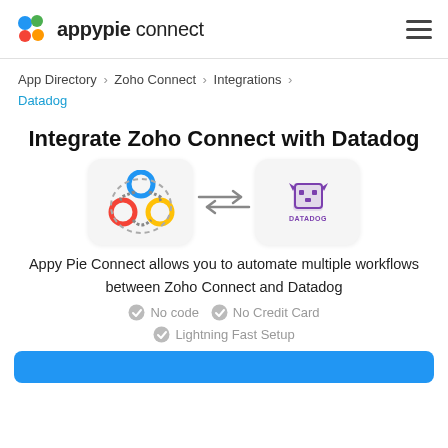appypie connect
App Directory > Zoho Connect > Integrations > Datadog
Integrate Zoho Connect with Datadog
[Figure (illustration): Zoho Connect logo (colored circles connected by arrows) and Datadog logo (purple dog icon) with bidirectional arrows between them]
Appy Pie Connect allows you to automate multiple workflows between Zoho Connect and Datadog
No code   No Credit Card   Lightning Fast Setup